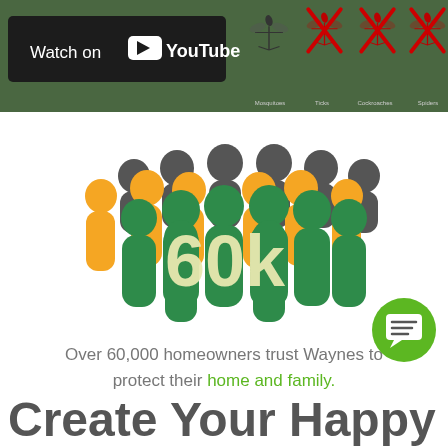[Figure (screenshot): YouTube 'Watch on YouTube' badge/button on a dark background, part of a video thumbnail header with green background showing mosquito icons with red X marks]
[Figure (infographic): Group of stylized human figure icons in orange, dark gray, and green colors surrounding a large '60k' text in cream/yellow color, representing 60,000 homeowners]
Over 60,000 homeowners trust Waynes to protect their home and family.
Create Your Happy